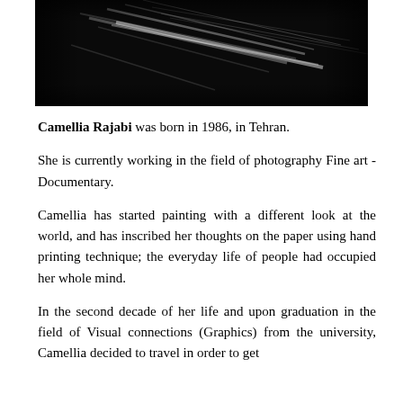[Figure (photo): Black and white artistic photograph showing abstract light streaks and textures against a dark background.]
Camellia Rajabi was born in 1986, in Tehran.
She is currently working in the field of photography Fine art - Documentary.
Camellia has started painting with a different look at the world, and has inscribed her thoughts on the paper using hand printing technique; the everyday life of people had occupied her whole mind.
In the second decade of her life and upon graduation in the field of Visual connections (Graphics) from the university, Camellia decided to travel in order to get